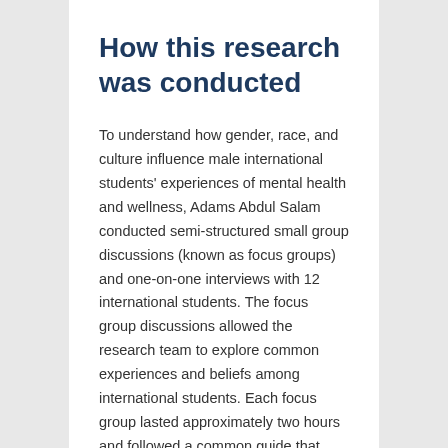How this research was conducted
To understand how gender, race, and culture influence male international students' experiences of mental health and wellness, Adams Abdul Salam conducted semi-structured small group discussions (known as focus groups) and one-on-one interviews with 12 international students. The focus group discussions allowed the research team to explore common experiences and beliefs among international students. Each focus group lasted approximately two hours and followed a common guide that began with an introduction followed by